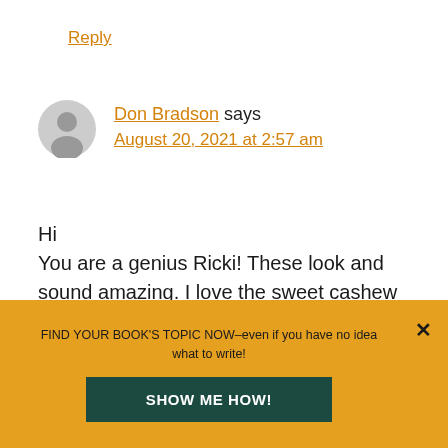Reply
Don Bradson says August 20, 2021 at 2:57 am
Hi
You are a genius Ricki! These look and sound amazing. I love the sweet cashew cream too – with white beans! My fave way to consume blueberries is by the handful too.
FIND YOUR BOOK'S TOPIC NOW–even if you have no idea what to write!
SHOW ME HOW!